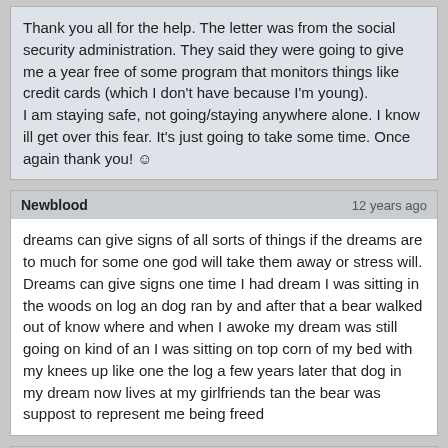Thank you all for the help. The letter was from the social security administration. They said they were going to give me a year free of some program that monitors things like credit cards (which I don't have because I'm young).
I am staying safe, not going/staying anywhere alone. I know ill get over this fear. It's just going to take some time. Once again thank you! ☺
Newblood  12 years ago
dreams can give signs of all sorts of things if the dreams are to much for some one god will take them away or stress will. Dreams can give signs one time I had dream I was sitting in the woods on log an dog ran by and after that a bear walked out of know where and when I awoke my dream was still going on kind of an I was sitting on top corn of my bed with my knees up like one the log a few years later that dog in my dream now lives at my girlfriends tan the bear was suppost to represent me being freed
moonshine  12 years ago
First of all, who was the letter from?